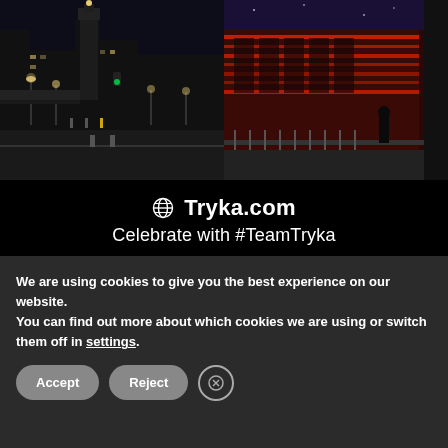[Figure (photo): Night city street scene with illuminated buildings and street lights on the left; red-lit modern building exterior at dusk on the right. Black banner below reads Tryka.com with globe icon and tagline Celebrate with #TeamTryka.]
[Figure (photo): Partial view of a dark interior or building facade, partially obscured by cookie consent banner.]
We are using cookies to give you the best experience on our website.
You can find out more about which cookies we are using or switch them off in settings.